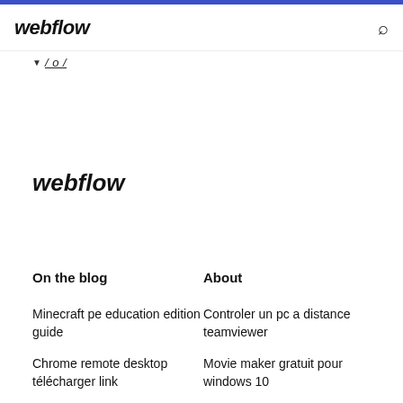webflow
/ o /
webflow
On the blog
About
Minecraft pe education edition guide
Controler un pc a distance teamviewer
Chrome remote desktop télécharger link
Movie maker gratuit pour windows 10